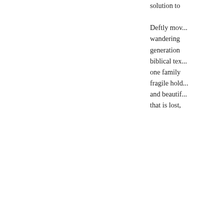solution to

Deftly mov... wandering ... generation ... biblical tex... one family ... fragile hold... and beautif... that is lost,
[Figure (other): Twitter Tweet button (blue rounded rectangle with Twitter bird icon and text 'Tweet')]